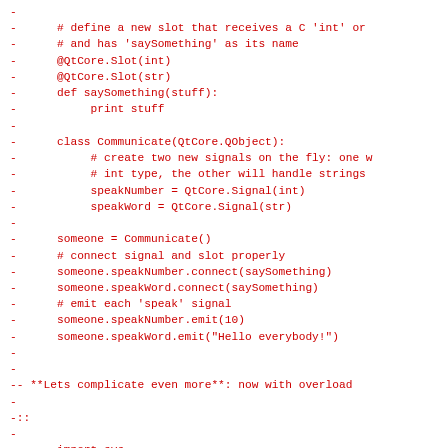- 
-      # define a new slot that receives a C 'int' or
-      # and has 'saySomething' as its name
-      @QtCore.Slot(int)
-      @QtCore.Slot(str)
-      def saySomething(stuff):
-           print stuff
-
-      class Communicate(QtCore.QObject):
-           # create two new signals on the fly: one w
-           # int type, the other will handle strings
-           speakNumber = QtCore.Signal(int)
-           speakWord = QtCore.Signal(str)
-
-      someone = Communicate()
-      # connect signal and slot properly
-      someone.speakNumber.connect(saySomething)
-      someone.speakWord.connect(saySomething)
-      # emit each 'speak' signal
-      someone.speakNumber.emit(10)
-      someone.speakWord.emit("Hello everybody!")
-
-
-- **Lets complicate even more**: now with overload
-
-::
-
-      import sys
-      from PySide import QtCore
-